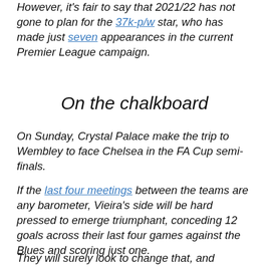However, it's fair to say that 2021/22 has not gone to plan for the 37k-p/w star, who has made just seven appearances in the current Premier League campaign.
On the chalkboard
On Sunday, Crystal Palace make the trip to Wembley to face Chelsea in the FA Cup semi-finals.
If the last four meetings between the teams are any barometer, Vieira's side will be hard pressed to emerge triumphant, conceding 12 goals across their last four games against the Blues and scoring just one.
They will surely look to change that, and